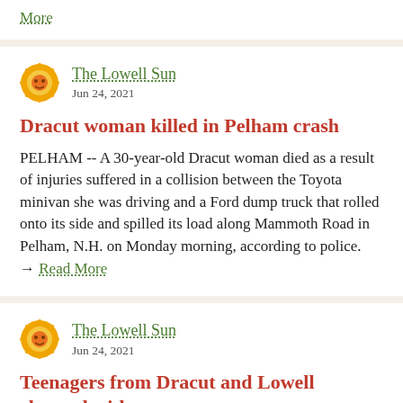More
The Lowell Sun
Jun 24, 2021
Dracut woman killed in Pelham crash
PELHAM -- A 30-year-old Dracut woman died as a result of injuries suffered in a collision between the Toyota minivan she was driving and a Ford dump truck that rolled onto its side and spilled its load along Mammoth Road in Pelham, N.H. on Monday morning, according to police. → Read More
The Lowell Sun
Jun 24, 2021
Teenagers from Dracut and Lowell charged with